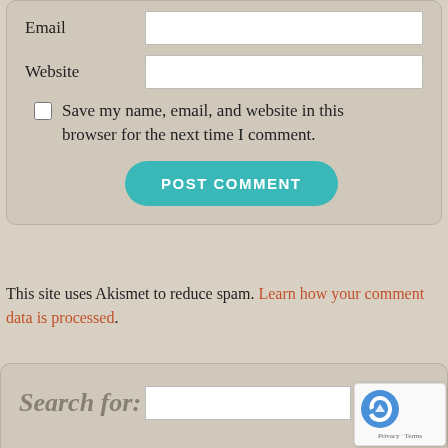Email [input field]
Website [input field]
Save my name, email, and website in this browser for the next time I comment.
POST COMMENT
This site uses Akismet to reduce spam. Learn how your comment data is processed.
Search for: [search input] Search